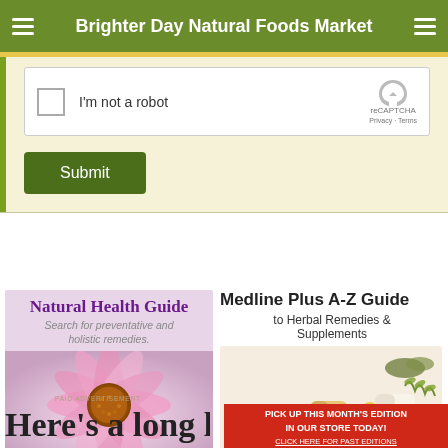Brighter Day Natural Foods Market
[Figure (screenshot): reCAPTCHA widget with checkbox labeled I'm not a robot, with reCAPTCHA logo and Privacy/Terms links]
Submit
[Figure (photo): Natural Health Guide - Search for preventative and holistic remedies - with a photo of a pink echinacea flower]
Medline Plus A-Z Guide to Herbal Remedies & Supplements
[Figure (photo): Various herbal supplements, capsules, pills, and dried herbs arranged together]
PICK UP THIS MONTH'S EDITION IN OUR STORE TODAY! CLICK HERE FOR PAST EDITIONS
PAID ADVERTISEMENT
Here's a long list of...